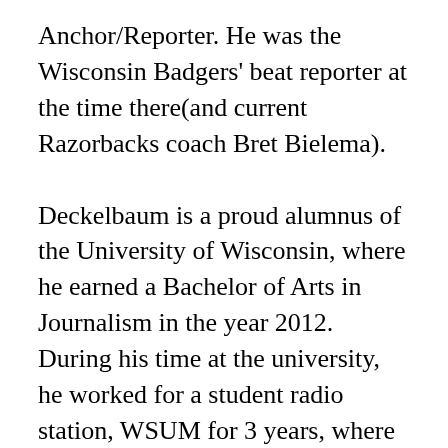Anchor/Reporter. He was the Wisconsin Badgers' beat reporter at the time there(and current Razorbacks coach Bret Bielema).
Deckelbaum is a proud alumnus of the University of Wisconsin, where he earned a Bachelor of Arts in Journalism in the year 2012. During his time at the university, he worked for a student radio station, WSUM for 3 years, where he held the positions of Sports and News Director. There, he worked for the Big Ten Network as a play-by-play announcer. He also